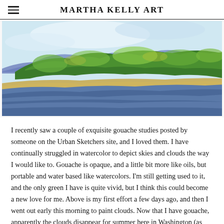MARTHA KELLY ART
[Figure (illustration): A gouache painting of a landscape featuring green trees and foliage in the middle ground, blue-purple mountains in the background, blue sky with light clouds, a sandy/golden shoreline, and blue water in the foreground.]
I recently saw a couple of exquisite gouache studies posted by someone on the Urban Sketchers site, and I loved them. I have continually struggled in watercolor to depict skies and clouds the way I would like to. Gouache is opaque, and a little bit more like oils, but portable and water based like watercolors. I'm still getting used to it, and the only green I have is quite vivid, but I think this could become a new love for me. Above is my first effort a few days ago, and then I went out early this morning to paint clouds. Now that I have gouache, apparently the clouds disappear for summer here in Washington (as they largely do at home as well),